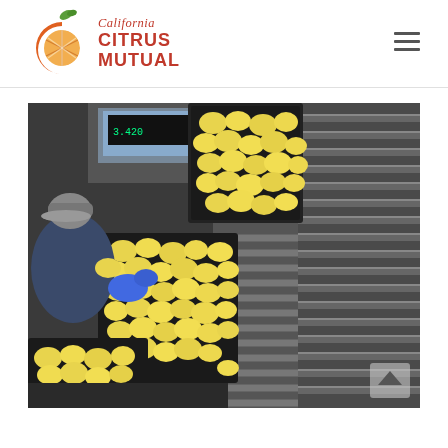[Figure (logo): California Citrus Mutual logo with orange C icon and green leaf, with stylized italic 'California' text above bold 'CITRUS MUTUAL' text in red]
[Figure (photo): Overhead view of a citrus packing facility showing a worker in a blue hoodie and gray cap handling lemons on a conveyor belt. Large black crates filled with bright yellow lemons, metal roller conveyors, and industrial weighing equipment are visible.]